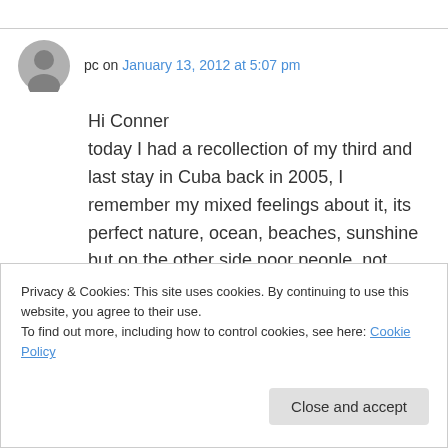pc on January 13, 2012 at 5:07 pm
Hi Conner
today I had a recollection of my third and last stay in Cuba back in 2005, I remember my mixed feelings about it, its perfect nature, ocean, beaches, sunshine but on the other side poor people, not much eating possibilities (unless you are close to the ocean – then you can have a lobster and ships all day long), Havana's poverty
Privacy & Cookies: This site uses cookies. By continuing to use this website, you agree to their use.
To find out more, including how to control cookies, see here: Cookie Policy
Close and accept